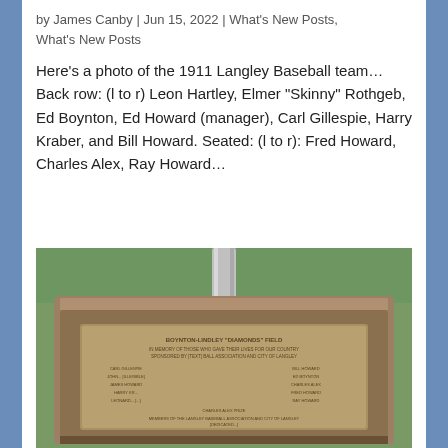by James Canby | Jun 15, 2022 | What's New Posts, What's New Posts
Here's a photo of the 1911 Langley Baseball team... Back row: (l to r) Leon Hartley, Elmer "Skinny" Rothgeb, Ed Boynton, Ed Howard (manager), Carl Gillespie, Harry Kraber, and Bill Howard. Seated: (l to r): Fred Howard, Charles Alex, Ray Howard...
[Figure (photo): Photograph of a stone monument or plaque base with a metal pole/flagpole emerging from the top. The stone base has a bronze or metal plaque affixed to it with inscribed text. The monument sits on grass.]